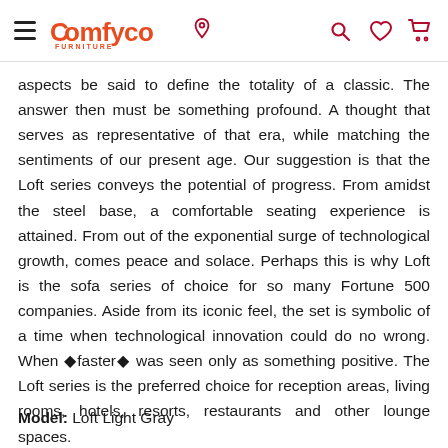Comfyco furniture — navigation header with hamburger menu, logo, pin icon, search, wishlist, cart
aspects be said to define the totality of a classic. The answer then must be something profound. A thought that serves as representative of that era, while matching the sentiments of our present age. Our suggestion is that the Loft series conveys the potential of progress. From amidst the steel base, a comfortable seating experience is attained. From out of the exponential surge of technological growth, comes peace and solace. Perhaps this is why Loft is the sofa series of choice for so many Fortune 500 companies. Aside from its iconic feel, the set is symbolic of a time when technological innovation could do no wrong. When ◆faster◆ was seen only as something positive. The Loft series is the preferred choice for reception areas, living rooms, hotels, resorts, restaurants and other lounge spaces.
Matching loveseat and chair available.
Model: Loft Light Gray